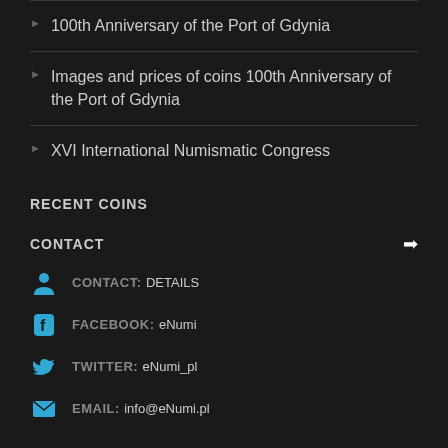100th Anniversary of the Port of Gdynia
Images and prices of coins 100th Anniversary of the Port of Gdynia
XVI International Numismatic Congress
RECENT COINS
CONTACT
CONTACT: DETAILS
FACEBOOK: eNumi
TWITTER: eNumi_pl
EMAIL: info@eNumi.pl